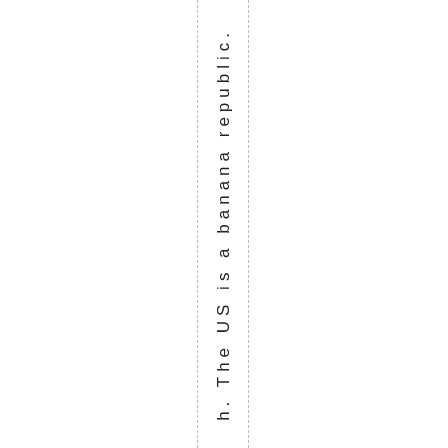h. The US is a banana republic.